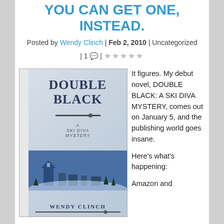YOU CAN GET ONE, INSTEAD.
Posted by Wendy Clinch | Feb 2, 2010 | Uncategorized | 1 💬 | ★★★★★
[Figure (photo): Book cover of 'Double Black: A Ski Diva Mystery' by Wendy Clinch, shown as a 3D angled book with blue winter scene background]
It figures. My debut novel, DOUBLE BLACK: A SKI DIVA MYSTERY, comes out on January 5, and the publishing world goes insane.

Here's what's happening:

Amazon and